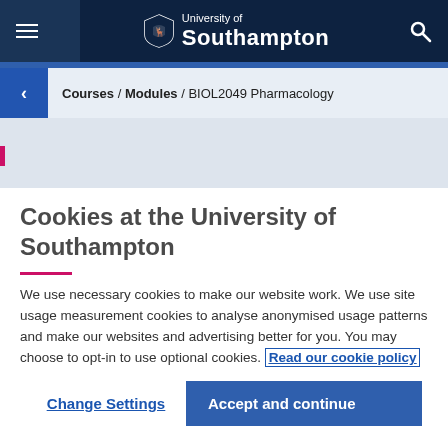University of Southampton
Courses / Modules / BIOL2049 Pharmacology
Cookies at the University of Southampton
We use necessary cookies to make our website work. We use site usage measurement cookies to analyse anonymised usage patterns and make our websites and advertising better for you. You may choose to opt-in to use optional cookies. Read our cookie policy
Change Settings
Accept and continue